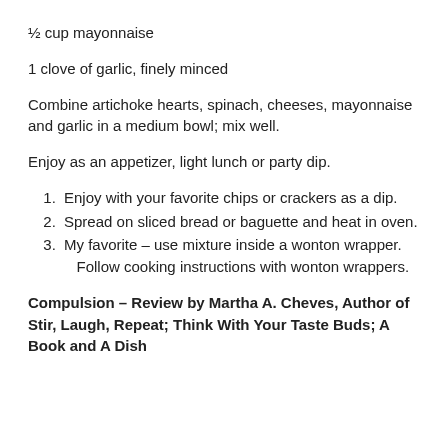½ cup mayonnaise
1 clove of garlic, finely minced
Combine artichoke hearts, spinach, cheeses, mayonnaise and garlic in a medium bowl; mix well.
Enjoy as an appetizer, light lunch or party dip.
Enjoy with your favorite chips or crackers as a dip.
Spread on sliced bread or baguette and heat in oven.
My favorite – use mixture inside a wonton wrapper. Follow cooking instructions with wonton wrappers.
Compulsion – Review by Martha A. Cheves, Author of Stir, Laugh, Repeat; Think With Your Taste Buds; A Book and A Dish